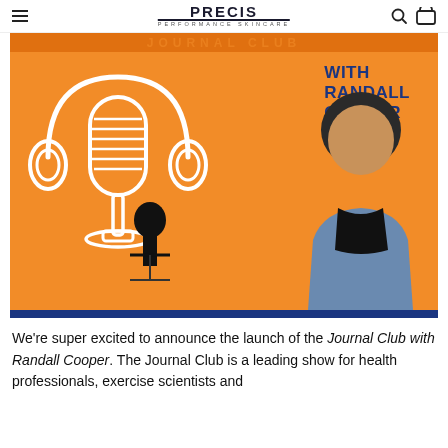PRECIS PERFORMANCE SKINCARE
[Figure (illustration): Podcast promotional banner with orange background, illustrated microphone with headphones, text 'WITH RANDALL COOPER' in dark blue, and a photo of a man (Randall Cooper) at a microphone with a blue bar at the bottom.]
We're super excited to announce the launch of the Journal Club with Randall Cooper. The Journal Club is a leading show for health professionals, exercise scientists and